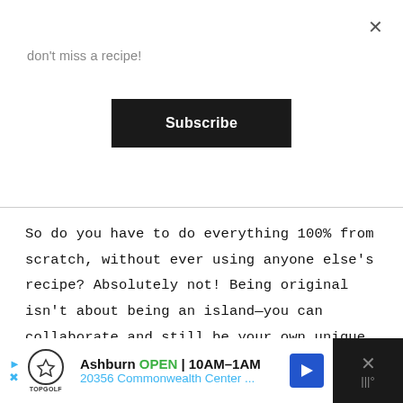don't miss a recipe!
Subscribe
So do you have to do everything 100% from scratch, without ever using anyone else's recipe? Absolutely not! Being original isn't about being an island—you can collaborate and still be your own unique person. There's no shame in adapting someone else's recipe—just make sure you give credit appropriately, out of respect for yourself and others.
Ashburn OPEN 10AM–1AM 20356 Commonwealth Center ...